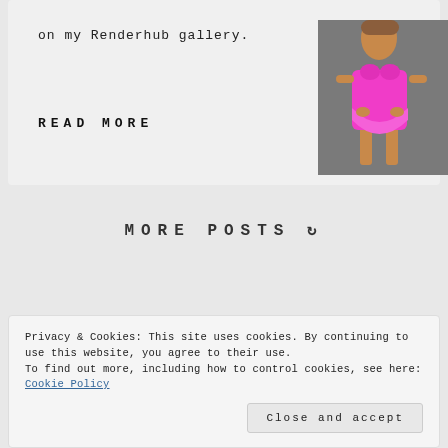on my Renderhub gallery.
READ MORE
[Figure (photo): A figure wearing a bright pink mini dress/outfit, standing against a grey background.]
MORE POSTS
Privacy & Cookies: This site uses cookies. By continuing to use this website, you agree to their use.
To find out more, including how to control cookies, see here:
Cookie Policy
Close and accept